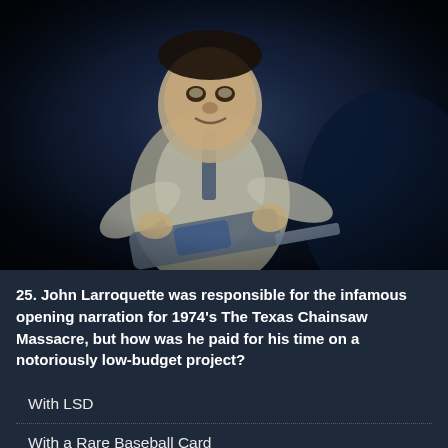[Figure (photo): A person wearing a mask (Leatherface from The Texas Chainsaw Massacre) holding a chainsaw, dark blue-toned still from the horror film.]
25. John Larroquette was responsible for the infamous opening narration for 1974's The Texas Chainsaw Massacre, but how was he paid for his time on a notoriously low-budget project?
With LSD
With a Rare Baseball Card